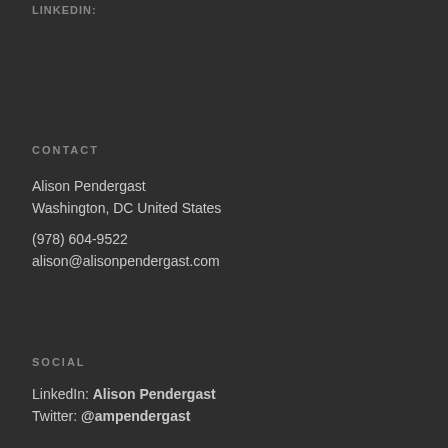LINKEDIN:
CONTACT
Alison Pendergast
Washington, DC United States

(978) 604-9522
alison@alisonpendergast.com
SOCIAL
LinkedIn: Alison Pendergast
Twitter: @ampendergast